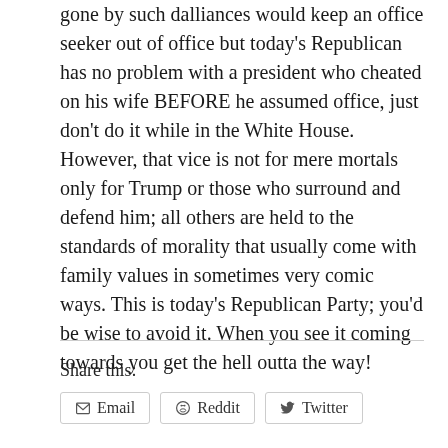gone by such dalliances would keep an office seeker out of office but today's Republican has no problem with a president who cheated on his wife BEFORE he assumed office, just don't do it while in the White House. However, that vice is not for mere mortals only for Trump or those who surround and defend him; all others are held to the standards of morality that usually come with family values in sometimes very comic ways. This is today's Republican Party; you'd be wise to avoid it. When you see it coming towards you get the hell outta the way!
Share this: